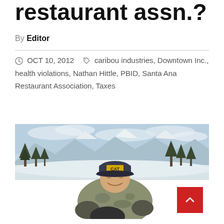restaurant assn.?
By Editor
OCT 10, 2012  caribou industries, Downtown Inc., health violations, Nathan Hittle, PBID, Santa Ana Restaurant Association, Taxes
[Figure (photo): A man wearing a CAT baseball cap and camouflage jacket, smiling, outdoors in a snowy mountain landscape with trees and cloudy sky in the background.]